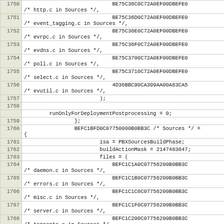Source code listing lines 1750-1769, showing Xcode project file (.pbxproj) contents with file references and build phase configuration.